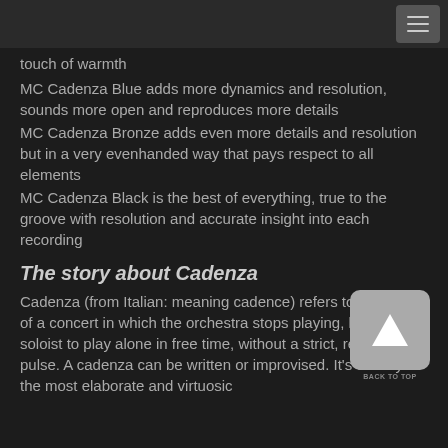touch of warmth
MC Cadenza Blue adds more dynamics and resolution, sounds more open and reproduces more details
MC Cadenza Bronze adds even more details and resolution but in a very evenhanded way that pays respect to all elements
MC Cadenza Black is the best of everything, true to the groove with resolution and accurate insight into each recording
The story about Cadenza
Cadenza (from Italian: meaning cadence) refers to a portion of a concert in which the orchestra stops playing, leaving the soloist to play alone in free time, without a strict, regular pulse. A cadenza can be written or improvised. It's usually the most elaborate and virtuosic